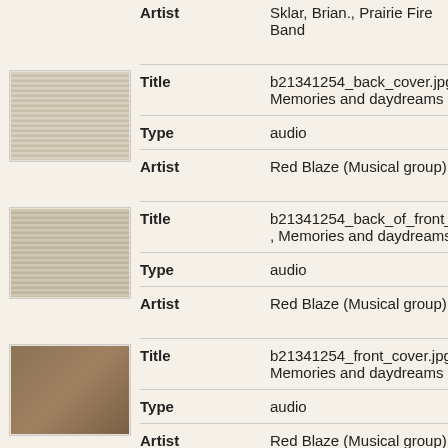| Field | Value |
| --- | --- |
| Artist | Sklar, Brian., Prairie Fire Band |
| Title | b21341254_back_cover.jpg, Memories and daydreams |
| Type | audio |
| Artist | Red Blaze (Musical group) |
| Title | b21341254_back_of_front_cover.jpg, Memories and daydreams |
| Type | audio |
| Artist | Red Blaze (Musical group) |
| Title | b21341254_front_cover.jpg, Memories and daydreams |
| Type | audio |
| Artist | Red Blaze (Musical group) |